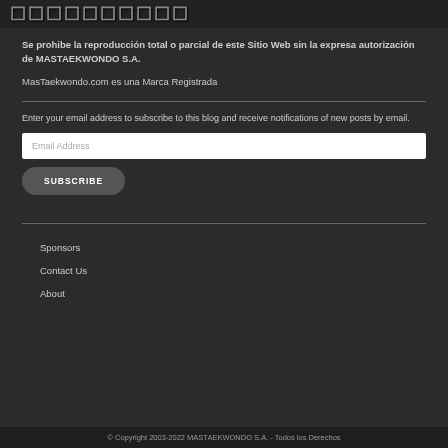[Figure (logo): MasTaekwondo logo text in dark stylized font on dark background]
Se prohibe la reproducción total o parcial de este Sitio Web sin la expresa autorización de MASTAEKWONDO S.A.
MasTaekwondo.com es una Marca Registrada
Enter your email address to subscribe to this blog and receive notifications of new posts by email.
Sponsors
Contact Us
About
© Copyright 2003-2022 MASTAEKWONDO S.A. - Todos los Derechos